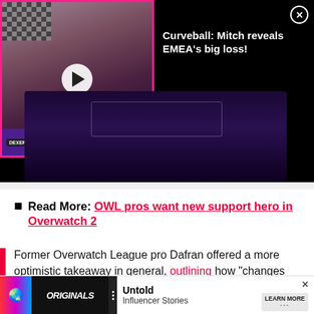[Figure (screenshot): Video thumbnail showing a person in a podcast studio setting with a play button overlay, bordered in pink/magenta. Notification overlay reads: Curveball: Mitch reveals EMEA's big loss! with a close (X) button.]
[Figure (screenshot): Dark purple/black video player area with a faint white rectangle outline visible.]
Read More: OWL pros want new support hero in Overwatch 2
Former Overwatch League pro Dafran offered a more optimistic takeaway in general, outlining how “changes are fun. I’m exciting for Overwatch 2.”
[Figure (screenshot): Advertisement banner: Originals logo on left, Untold Influencer Stories text, Learn More button on right, with X close button.]